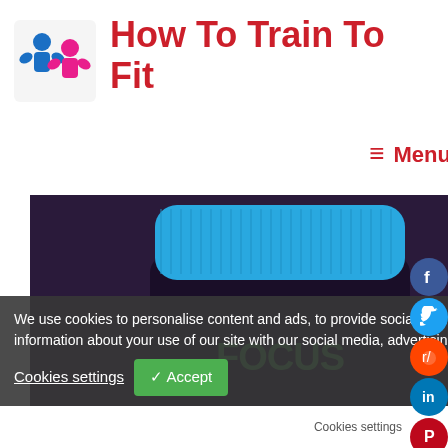[Figure (logo): Logo showing two figures flexing muscles, one blue male and one pink female, for 'How To Train To Fit' fitness website]
How To Train To Fit
≡ Menu
[Figure (photo): A supplement bottle with a blue cap showing 'FOCUS' branding on the label, photographed from above]
We use cookies to personalise content and ads, to provide social media features and to analyse our traffic. We also share information about your use of our site with our social media, advertising and analytics partners. View more
Cookies settings